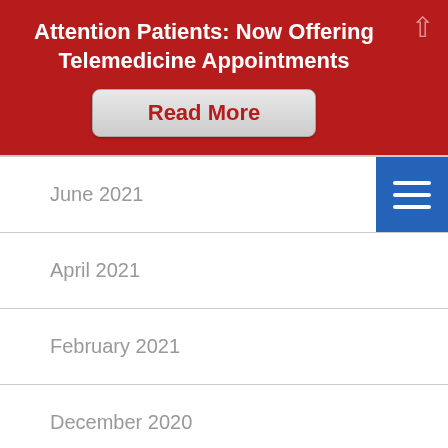Attention Patients: Now Offering Telemedicine Appointments
Read More
June 2021
April 2021
February 2021
December 2020
October 2020